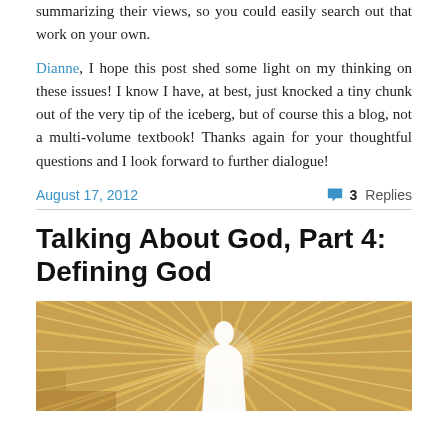summarizing their views, so you could easily search out that work on your own.
Dianne, I hope this post shed some light on my thinking on these issues! I know I have, at best, just knocked a tiny chunk out of the very tip of the iceberg, but of course this a blog, not a multi-volume textbook! Thanks again for your thoughtful questions and I look forward to further dialogue!
August 17, 2012
3 Replies
Talking About God, Part 4: Defining God
[Figure (photo): Decorative image with radiating golden/tan lines and a white silhouette figure in the center, suggesting light or divine imagery]